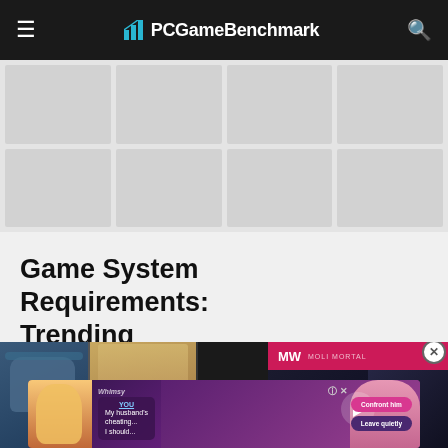PCGameBenchmark
[Figure (other): Grid of 8 placeholder game thumbnail cards in 4-column, 2-row layout]
Game System Requirements: Trending
[Figure (screenshot): GTA game promotional image with helicopter and character panels, overlaid with a video player panel for 'Alone in the Dark Remake' with MW logo]
[Figure (other): Bottom advertisement banner for a mobile game showing characters and dialogue bubbles with 'My husband's cheating... I should...' text with Confront him and Leave quietly buttons]